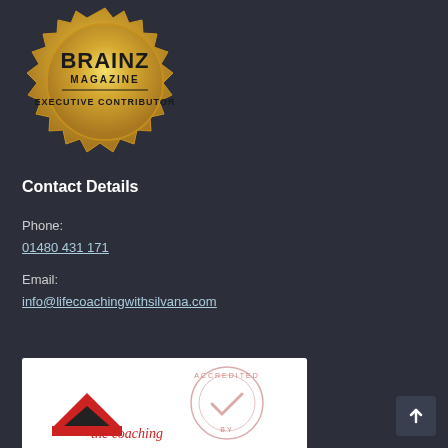[Figure (logo): Brainz Magazine Executive Contributor gold badge/seal]
Contact Details
Phone:
01480 431 171
Email:
info@lifecoachingwithsilvana.com
[Figure (logo): The Coaching Academy accreditation logo with red chevron and accreditation stamp]